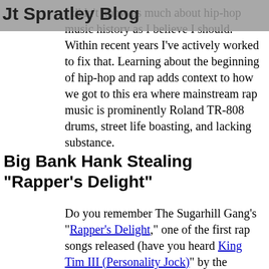Jt Spratley Blog
I didn't know as much about hip-hop music history as I believe I should. Within recent years I've actively worked to fix that. Learning about the beginning of hip-hop and rap adds context to how we got to this era where mainstream rap music is prominently Roland TR-808 drums, street life boasting, and lacking substance.
Big Bank Hank Stealing "Rapper's Delight"
Do you remember The Sugarhill Gang's "Rapper's Delight," one of the first rap songs released (have you heard King Tim III (Personality Jock)" by the Fatback Band)? Grandmaster Caz has said for years that Big Bank Hank, one of the Sugarhill rappers, stole his lyrics for